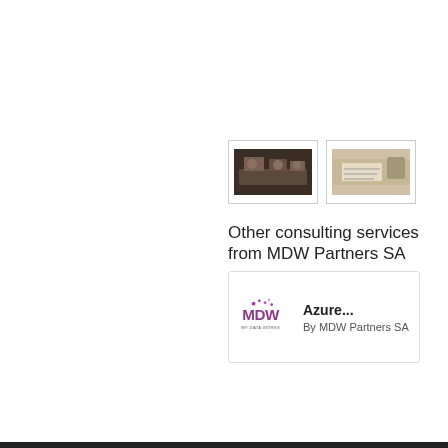[Figure (photo): Two thumbnail images side by side: left shows people seated at a table in a dark/warm-toned scene; right shows hands writing or working with paper/light surface]
Other consulting services from MDW Partners SA
[Figure (illustration): Card with MDW Partners SA logo (My Data Works) on the left and text 'Azure...' and 'By MDW Partners SA' on the right]